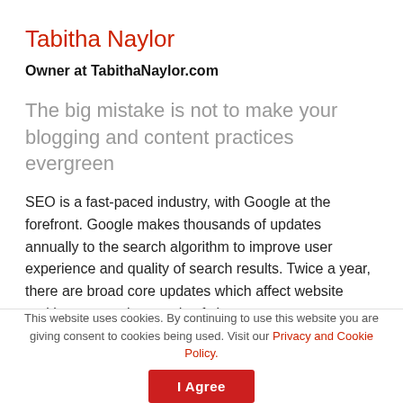Tabitha Naylor
Owner at TabithaNaylor.com
The big mistake is not to make your blogging and content practices evergreen
SEO is a fast-paced industry, with Google at the forefront. Google makes thousands of updates annually to the search algorithm to improve user experience and quality of search results. Twice a year, there are broad core updates which affect website ranking across thousands of sites.
Google maintains that any changes experienced post-
This website uses cookies. By continuing to use this website you are giving consent to cookies being used. Visit our Privacy and Cookie Policy.